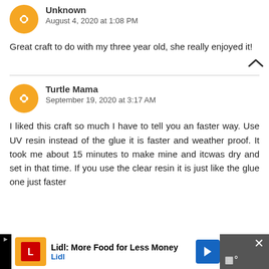Unknown
August 4, 2020 at 1:08 PM
Great craft to do with my three year old, she really enjoyed it!
Turtle Mama
September 19, 2020 at 3:17 AM
I liked this craft so much I have to tell you an faster way. Use UV resin instead of the glue it is faster and weather proof. It took me about 15 minutes to make mine and itcwas dry and set in that time. If you use the clear resin it is just like the glue one just faster
[Figure (other): Lidl advertisement banner at the bottom of the page]